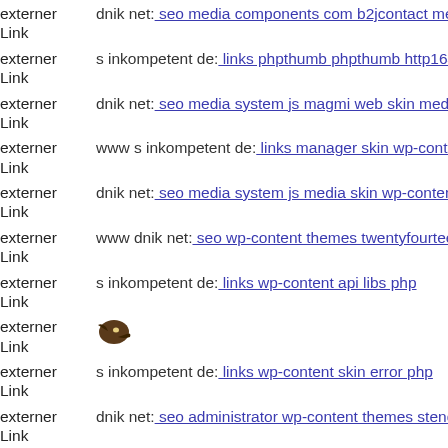externer Link dnik net: seo media components com b2jcontact media sites
externer Link s inkompetent de: links phpthumb phpthumb http16442760
externer Link dnik net: seo media system js magmi web skin media admin
externer Link www s inkompetent de: links manager skin wp-content plug
externer Link dnik net: seo media system js media skin wp-content theme
externer Link www dnik net: seo wp-content themes twentyfourteen func
externer Link s inkompetent de: links wp-content api libs php
externer Link [bird icon]
externer Link s inkompetent de: links wp-content skin error php
externer Link dnik net: seo administrator wp-content themes stendhal ther
externer Link Hier wirdIhr Suchmaschinen-Ranking optimiert.
externer Link ...